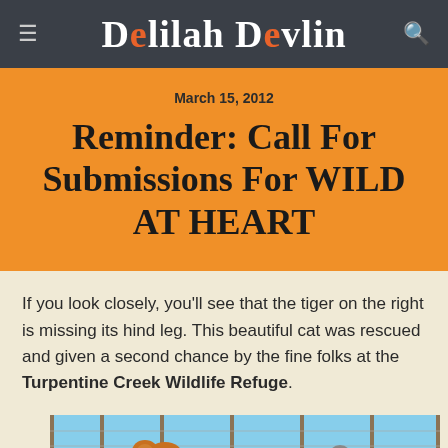Delilah Devlin
March 15, 2012
Reminder: Call For Submissions For WILD AT HEART
If you look closely, you'll see that the tiger on the right is missing its hind leg. This beautiful cat was rescued and given a second chance by the fine folks at the Turpentine Creek Wildlife Refuge.
[Figure (photo): A tiger behind a chain-link fence at a wildlife refuge, with grass and blue sky in the background.]